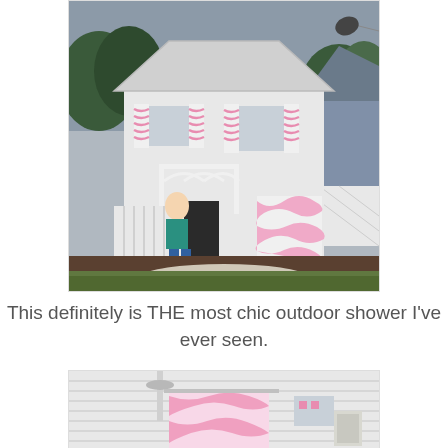[Figure (photo): A white cottage-style house with pink and white zebra-print shutters and garage door. A woman in a teal top and jeans stands at a white picket gate in the foreground. The house has decorative white arbor trim above the door and landscaped mulch beds.]
This definitely is THE most chic outdoor shower I've ever seen.
[Figure (photo): An outdoor shower attached to the side of a white clapboard house. A pink and white zebra-print curtain hangs from a white rod. A chrome showerhead is visible above. Pink accent fixtures are on the wall.]